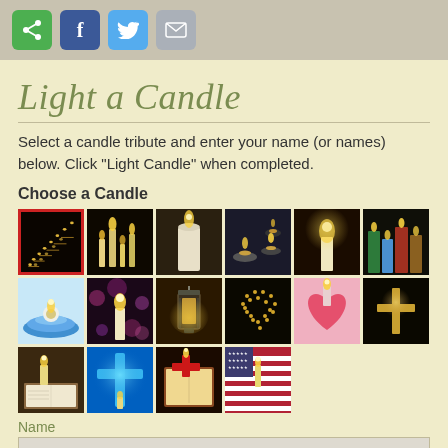[Figure (screenshot): Social share buttons: green share, Facebook, Twitter, email]
Light a Candle
Select a candle tribute and enter your name (or names) below. Click "Light Candle" when completed.
Choose a Candle
[Figure (photo): Grid of candle tribute images for selection. First image (staircase candles) is selected with red border. Row 1: staircase candles, multiple candles, large white candle, diya lamps, single candle glow, colorful pillar candles. Row 2: tealight in bowl, candle bokeh, lantern, heart shape candles, pink heart candle, gold cross. Row 3: bible candle, blue cross, red cross, american flag candle.]
Name